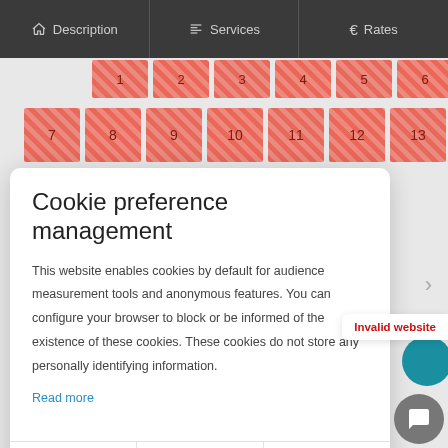Description | Services | Rates
[Figure (screenshot): Calendar grid with salmon/red hatched cells showing dates 1-13]
Cookie preference management
This website enables cookies by default for audience measurement tools and anonymous features. You can configure your browser to block or be informed of the existence of these cookies. These cookies do not store any personally identifying information.
Read more
No thanks | I choose | Ok for me
Invalid website